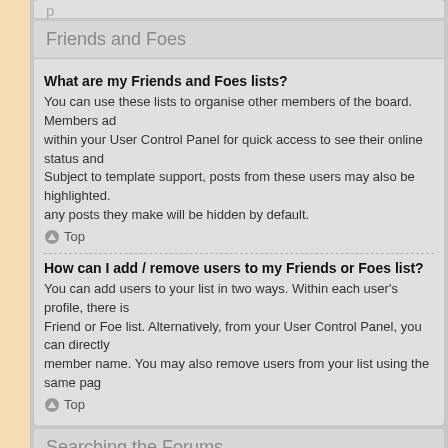Friends and Foes
What are my Friends and Foes lists?
You can use these lists to organise other members of the board. Members added to your friends list will be listed within your User Control Panel for quick access to see their online status and to send them private messages. Subject to template support, posts from these users may also be highlighted. If you add a user to your foes list, any posts they make will be hidden by default.
Top
How can I add / remove users to my Friends or Foes list?
You can add users to your list in two ways. Within each user's profile, there is a link to add them to either your Friend or Foe list. Alternatively, from your User Control Panel, you can directly add users by entering their member name. You may also remove users from your list using the same page.
Top
Searching the Forums
How can I search a forum or forums?
Enter a search term in the search box located on the index, forum or topic pages. Advanced search can be accessed by clicking the “Advance Search” link which is available on all pages on the forum. How to access the search may depend on the style used.
Top